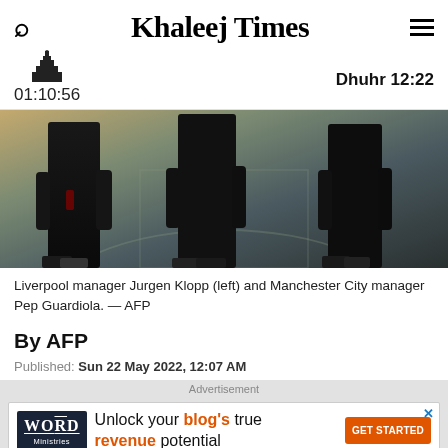Khaleej Times
Dhuhr 12:22
01:10:56
[Figure (photo): Three people (from torso down) walking on a football pitch — Liverpool manager Jurgen Klopp (left) and Manchester City manager Pep Guardiola. AFP photo.]
Liverpool manager Jurgen Klopp (left) and Manchester City manager Pep Guardiola. — AFP
By AFP
Published: Sun 22 May 2022, 12:07 AM
Advertisement — Unlock your blog's true revenue potential — GET STARTED